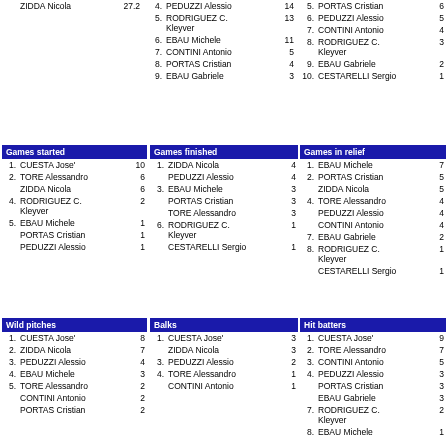ZIDDA Nicola 27.2
4. PEDUZZI Alessio 14
5. RODRIGUEZ C. Kleyver 13
6. EBAU Michele 11
7. CONTINI Antonio 5
8. PORTAS Cristian 4
9. EBAU Gabriele 3
5. PORTAS Cristian 6
6. PEDUZZI Alessio 5
7. CONTINI Antonio 4
8. RODRIGUEZ C. Kleyver 3
9. EBAU Gabriele 2
10. CESTARELLI Sergio 1
Games started
Games finished
Games in relief
| Rank | Name | Value |
| --- | --- | --- |
| 1. | CUESTA Jose' | 10 |
| 2. | TORE Alessandro | 6 |
|  | ZIDDA Nicola | 6 |
| 4. | RODRIGUEZ C. Kleyver | 2 |
| 5. | EBAU Michele | 1 |
|  | PORTAS Cristian | 1 |
|  | PEDUZZI Alessio | 1 |
| Rank | Name | Value |
| --- | --- | --- |
| 1. | ZIDDA Nicola | 4 |
|  | PEDUZZI Alessio | 4 |
| 3. | EBAU Michele | 3 |
|  | PORTAS Cristian | 3 |
|  | TORE Alessandro | 3 |
| 6. | RODRIGUEZ C. Kleyver | 1 |
|  | CESTARELLI Sergio | 1 |
| Rank | Name | Value |
| --- | --- | --- |
| 1. | EBAU Michele | 7 |
| 2. | PORTAS Cristian | 5 |
|  | ZIDDA Nicola | 5 |
| 4. | TORE Alessandro | 4 |
|  | PEDUZZI Alessio | 4 |
|  | CONTINI Antonio | 4 |
| 7. | EBAU Gabriele | 2 |
| 8. | RODRIGUEZ C. Kleyver | 1 |
|  | CESTARELLI Sergio | 1 |
Wild pitches
Balks
Hit batters
| Rank | Name | Value |
| --- | --- | --- |
| 1. | CUESTA Jose' | 8 |
| 2. | ZIDDA Nicola | 7 |
| 3. | PEDUZZI Alessio | 4 |
| 4. | EBAU Michele | 3 |
| 5. | TORE Alessandro | 2 |
|  | CONTINI Antonio | 2 |
|  | PORTAS Cristian | 2 |
| Rank | Name | Value |
| --- | --- | --- |
| 1. | CUESTA Jose' | 3 |
|  | ZIDDA Nicola | 3 |
| 3. | PEDUZZI Alessio | 2 |
| 4. | TORE Alessandro | 1 |
|  | CONTINI Antonio | 1 |
| Rank | Name | Value |
| --- | --- | --- |
| 1. | CUESTA Jose' | 9 |
| 2. | TORE Alessandro | 7 |
| 3. | CONTINI Antonio | 5 |
| 4. | PEDUZZI Alessio | 3 |
|  | PORTAS Cristian | 3 |
|  | EBAU Gabriele | 3 |
| 7. | RODRIGUEZ C. Kleyver | 2 |
| 8. | EBAU Michele | 1 |